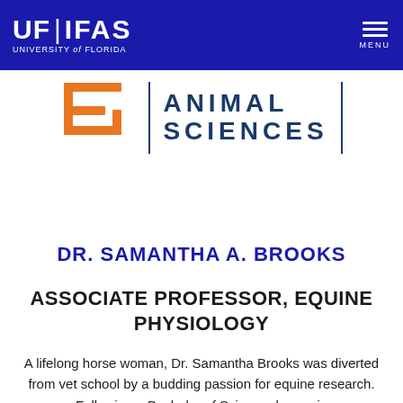UF | IFAS UNIVERSITY of FLORIDA — MENU
[Figure (logo): UF Animal Sciences logo with orange UF mark, vertical blue divider, and blue text reading ANIMAL SCIENCES]
DR. SAMANTHA A. BROOKS
ASSOCIATE PROFESSOR, EQUINE PHYSIOLOGY
A lifelong horse woman, Dr. Samantha Brooks was diverted from vet school by a budding passion for equine research. Following a Bachelor of Science degree in